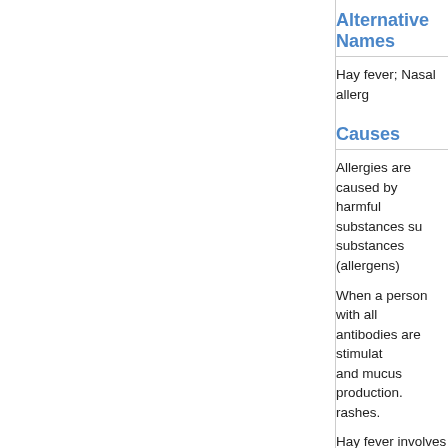Alternative Names
Hay fever; Nasal allerg
Causes
Allergies are caused by harmful substances su substances (allergens)
When a person with all antibodies are stimulat and mucus production. rashes.
Hay fever involves an a similar inhaled allergen
The pollens that cause responsible for hay fev responsible for hay fev
Trees (deciduo
Grasses
Ragweed
The amount of pollen i likely to have increased ground.
Some disorders may b
Allergies are common